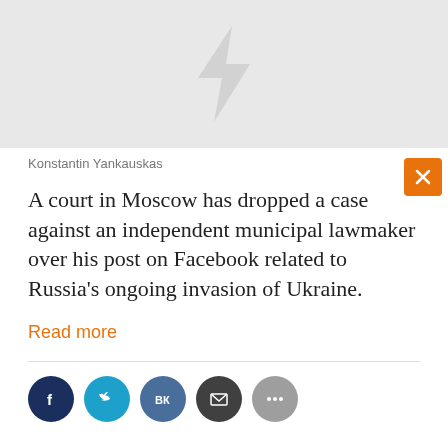[Figure (photo): Gray placeholder image with a stylized lightning bolt / arrow logo in the center]
Konstantin Yankauskas
A court in Moscow has dropped a case against an independent municipal lawmaker over his post on Facebook related to Russia's ongoing invasion of Ukraine.
Read more
[Figure (other): Social sharing icons: Facebook, Twitter, VK, Email, More]